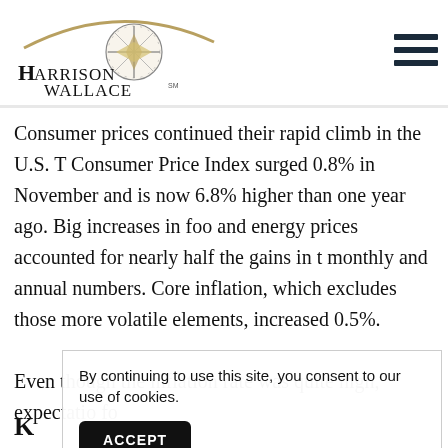[Figure (logo): Harrison Wallace logo with compass rose icon and arc above text]
Consumer prices continued their rapid climb in the U.S. The Consumer Price Index surged 0.8% in November and is now 6.8% higher than one year ago. Big increases in food and energy prices accounted for nearly half the gains in the monthly and annual numbers. Core inflation, which excludes those more volatile elements, increased 0.5%.
Even though the inflation rate was quite high, expectation fo
By continuing to use this site, you consent to our use of cookies.
ACCEPT
K